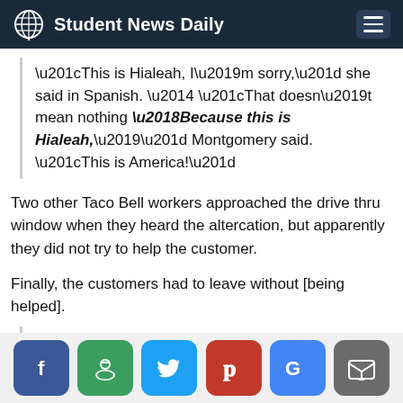Student News Daily
“This is Hialeah, I’m sorry,” she said in Spanish. — “That doesn’t mean nothing ‘Because this is Hialeah,’” Montgomery said. “This is America!”
Two other Taco Bell workers approached the drive thru window when they heard the altercation, but apparently they did not try to help the customer.
Finally, the customers had to leave without [being helped].
“This incident happened Wednesday